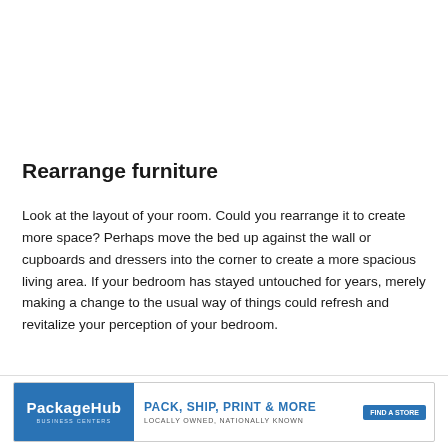Rearrange furniture
Look at the layout of your room. Could you rearrange it to create more space? Perhaps move the bed up against the wall or cupboards and dressers into the corner to create a more spacious living area. If your bedroom has stayed untouched for years, merely making a change to the usual way of things could refresh and revitalize your perception of your bedroom.
Make it brighter
[Figure (other): PackageHub advertisement banner: Pack, Ship, Print & More. Locally owned, nationally known. Find a store button.]